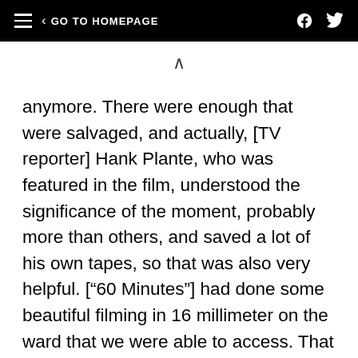GO TO HOMEPAGE
anymore. There were enough that were salvaged, and actually, [TV reporter] Hank Plante, who was featured in the film, understood the significance of the moment, probably more than others, and saved a lot of his own tapes, so that was also very helpful. [“60 Minutes”] had done some beautiful filming in 16 millimeter on the ward that we were able to access. That was really crucial material. The process of finding that archival material was one of the most arduous and excruciating, painstaking processes of the whole production. It took the better part of a year.